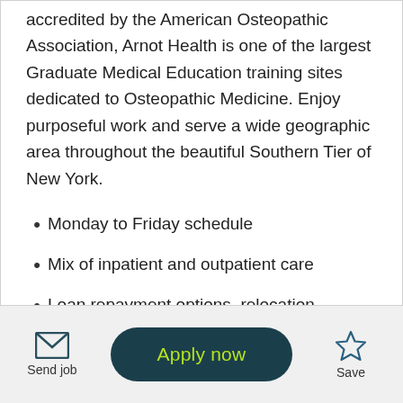accredited by the American Osteopathic Association, Arnot Health is one of the largest Graduate Medical Education training sites dedicated to Osteopathic Medicine. Enjoy purposeful work and serve a wide geographic area throughout the beautiful Southern Tier of New York.
Monday to Friday schedule
Mix of inpatient and outpatient care
Loan repayment options, relocation assistance and sign-on bonus available
X-ray available on-site at all clinic locations
Board certification in your specialty required
[Figure (infographic): Footer action bar with Send job (envelope icon), Apply now (green button on dark teal), and Save (star icon) buttons]